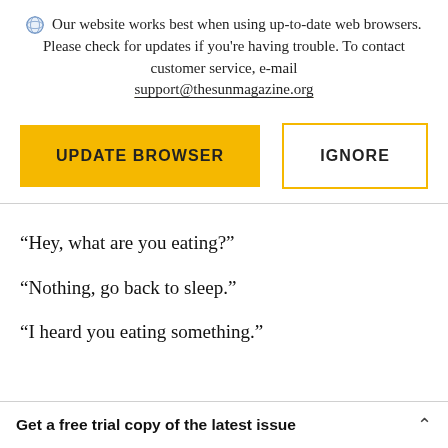Our website works best when using up-to-date web browsers. Please check for updates if you're having trouble. To contact customer service, e-mail support@thesunmagazine.org
[Figure (screenshot): Two UI buttons: a filled yellow button labeled UPDATE BROWSER and an outlined yellow button labeled IGNORE]
“Hey, what are you eating?”
“Nothing, go back to sleep.”
“I heard you eating something.”
Get a free trial copy of the latest issue